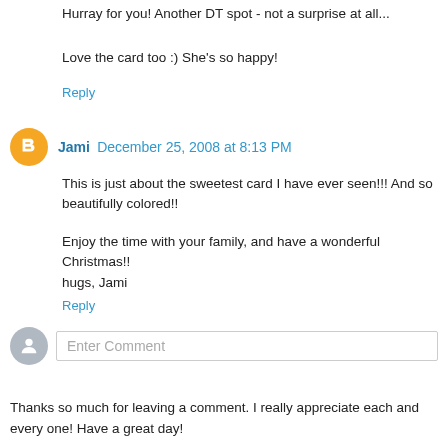Hurray for you! Another DT spot - not a surprise at all...
Love the card too :) She's so happy!
Reply
Jami  December 25, 2008 at 8:13 PM
This is just about the sweetest card I have ever seen!!! And so beautifully colored!!
Enjoy the time with your family, and have a wonderful Christmas!!
hugs, Jami
Reply
Enter Comment
Thanks so much for leaving a comment. I really appreciate each and every one! Have a great day!